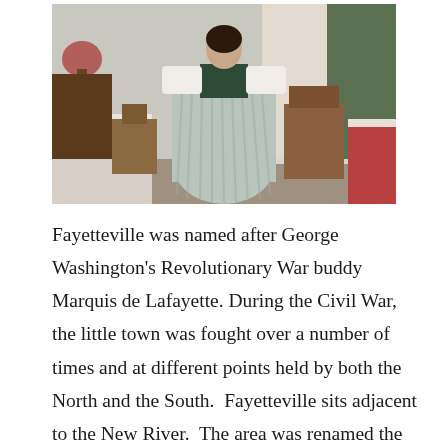[Figure (photo): A person in period Civil War-era dress (long striped skirt, dark bodice, white blouse) standing in a room with period furniture including chairs and tables with white tablecloths, floral curtains in the background.]
Fayetteville was named after George Washington's Revolutionary War buddy Marquis de Lafayette. During the Civil War, the little town was fought over a number of times and at different points held by both the North and the South.  Fayetteville sits adjacent to the New River.  The area was renamed the New River Gorge National River by the National Parks Service in 1978, and protects more than 70,000 acres